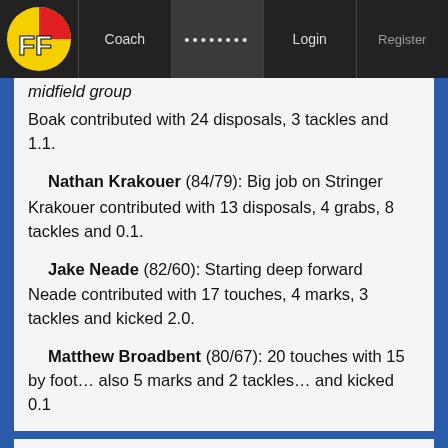FF Coach • • • • • • • • Login Register
midfield group
Boak contributed with 24 disposals, 3 tackles and 1.1.
Nathan Krakouer (84/79): Big job on Stringer
Krakouer contributed with 13 disposals, 4 grabs, 8 tackles and 0.1.
Jake Neade (82/60): Starting deep forward
Neade contributed with 17 touches, 4 marks, 3 tackles and kicked 2.0.
Matthew Broadbent (80/67): 20 touches with 15 by foot… also 5 marks and 2 tackles… and kicked 0.1
Logan Austin (76/54): Second game… 13 possessions with 12 by foot… also 7 marks and 4 tackles. In defence on the resting ruck